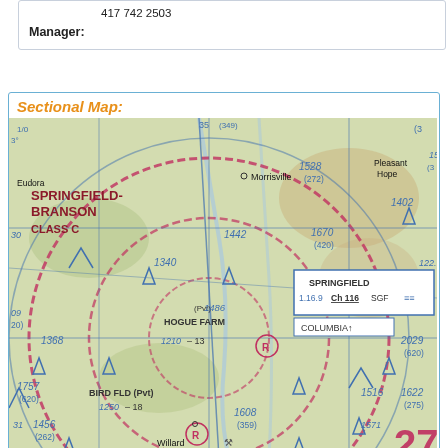417 742 2503
Manager:
Sectional Map:
[Figure (map): Sectional aeronautical chart showing Springfield-Branson area in Missouri. Shows Springfield-Branson CLASS C airspace, Hogue Farm, Bird Fld (Pvt), Springfield-Branson NTL (SGF) airport with CT-119.9 ATIS 135.125, Morrisville, Pleasant Hope, Eudora, Willard locations. Various altitude markers: 1528 (272), 1402, 1442, 1670 (420), 1340, 1486, 1368, 1210-13, 1757 (620), 1250-18, 1608 (359), 1516, 1622 (275), 1571, 1456 (262), 1512 (265), 1268, 2029 (620). Radio frequencies: SPRINGFIELD 1.16.9 Ch 116 SGF, COLUMBIA. Downtown (3DV) notation. Number 27 visible.]